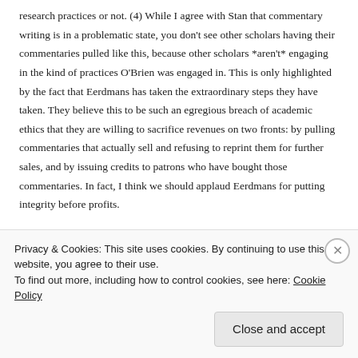research practices or not. (4) While I agree with Stan that commentary writing is in a problematic state, you don't see other scholars having their commentaries pulled like this, because other scholars *aren't* engaging in the kind of practices O'Brien was engaged in. This is only highlighted by the fact that Eerdmans has taken the extraordinary steps they have taken. They believe this to be such an egregious breach of academic ethics that they are willing to sacrifice revenues on two fronts: by pulling commentaries that actually sell and refusing to reprint them for further sales, and by issuing credits to patrons who have bought those commentaries. In fact, I think we should applaud Eerdmans for putting integrity before profits.
Liked by 1 person
Privacy & Cookies: This site uses cookies. By continuing to use this website, you agree to their use.
To find out more, including how to control cookies, see here: Cookie Policy
Close and accept